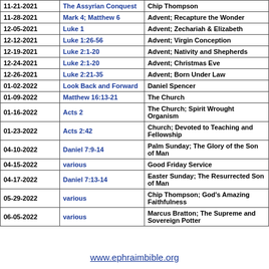| Date | Passage | Topic |
| --- | --- | --- |
| 11-21-2021 | The Assyrian Conquest | Chip Thompson |
| 11-28-2021 | Mark 4; Matthew 6 | Advent; Recapture the Wonder |
| 12-05-2021 | Luke 1 | Advent; Zechariah & Elizabeth |
| 12-12-2021 | Luke 1:26-56 | Advent; Virgin Conception |
| 12-19-2021 | Luke 2:1-20 | Advent; Nativity and Shepherds |
| 12-24-2021 | Luke 2:1-20 | Advent; Christmas Eve |
| 12-26-2021 | Luke 2:21-35 | Advent; Born Under Law |
| 01-02-2022 | Look Back and Forward | Daniel Spencer |
| 01-09-2022 | Matthew 16:13-21 | The Church |
| 01-16-2022 | Acts 2 | The Church; Spirit Wrought Organism |
| 01-23-2022 | Acts 2:42 | Church; Devoted to Teaching and Fellowship |
| 04-10-2022 | Daniel 7:9-14 | Palm Sunday; The Glory of the Son of Man |
| 04-15-2022 | various | Good Friday Service |
| 04-17-2022 | Daniel 7:13-14 | Easter Sunday; The Resurrected Son of Man |
| 05-29-2022 | various | Chip Thompson; God's Amazing Faithfulness |
| 06-05-2022 | various | Marcus Bratton; The Supreme and Sovereign Potter |
www.ephraimbible.org